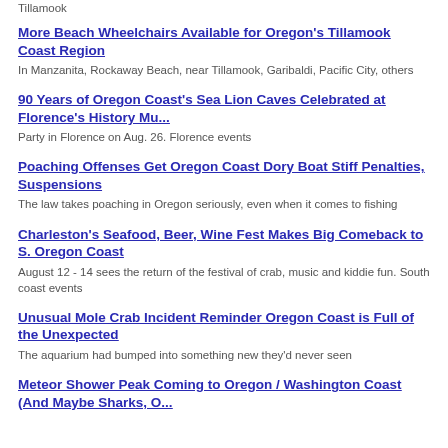Tillamook
More Beach Wheelchairs Available for Oregon's Tillamook Coast Region
In Manzanita, Rockaway Beach, near Tillamook, Garibaldi, Pacific City, others
90 Years of Oregon Coast's Sea Lion Caves Celebrated at Florence's History Mu...
Party in Florence on Aug. 26. Florence events
Poaching Offenses Get Oregon Coast Dory Boat Stiff Penalties, Suspensions
The law takes poaching in Oregon seriously, even when it comes to fishing
Charleston's Seafood, Beer, Wine Fest Makes Big Comeback to S. Oregon Coast
August 12 - 14 sees the return of the festival of crab, music and kiddie fun. South coast events
Unusual Mole Crab Incident Reminder Oregon Coast is Full of the Unexpected
The aquarium had bumped into something new they'd never seen
Meteor Shower Peak Coming to Oregon / Washington Coast (And Maybe Sharks, O...